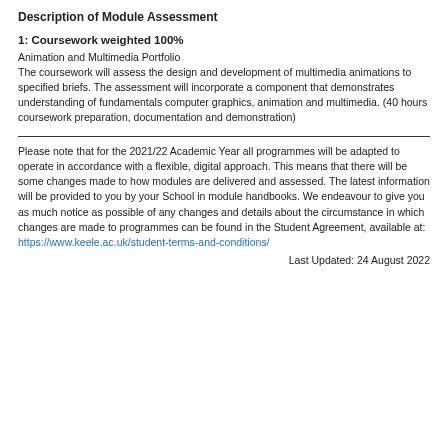Description of Module Assessment
1: Coursework weighted 100%
Animation and Multimedia Portfolio
The coursework will assess the design and development of multimedia animations to specified briefs. The assessment will incorporate a component that demonstrates understanding of fundamentals computer graphics, animation and multimedia. (40 hours coursework preparation, documentation and demonstration)
Please note that for the 2021/22 Academic Year all programmes will be adapted to operate in accordance with a flexible, digital approach. This means that there will be some changes made to how modules are delivered and assessed. The latest information will be provided to you by your School in module handbooks. We endeavour to give you as much notice as possible of any changes and details about the circumstance in which changes are made to programmes can be found in the Student Agreement, available at: https://www.keele.ac.uk/student-terms-and-conditions/
Last Updated: 24 August 2022